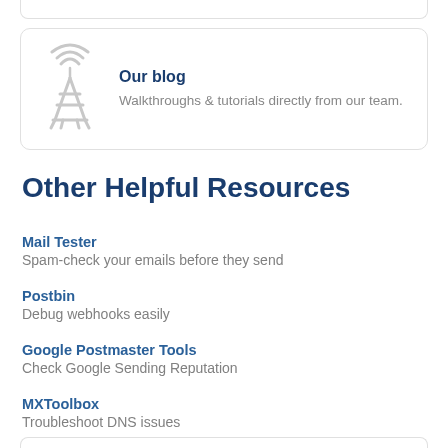[Figure (illustration): Blog card with antenna/broadcast tower icon]
Our blog
Walkthroughs & tutorials directly from our team.
Other Helpful Resources
Mail Tester
Spam-check your emails before they send
Postbin
Debug webhooks easily
Google Postmaster Tools
Check Google Sending Reputation
MXToolbox
Troubleshoot DNS issues